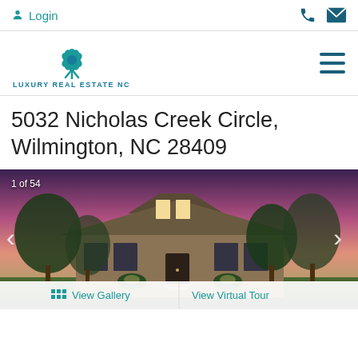Login | Phone | Email
[Figure (logo): Luxury Real Estate NC logo with teal lotus flower icon and text LUXURY REAL ESTATE NC]
5032 Nicholas Creek Circle, Wilmington, NC 28409
[Figure (photo): Exterior photo of a large two-story brick luxury home at dusk with pink and purple sky, trees, and landscaping. Shows 1 of 54 photos. Left and right navigation arrows visible. View Gallery and View Virtual Tour buttons at bottom.]